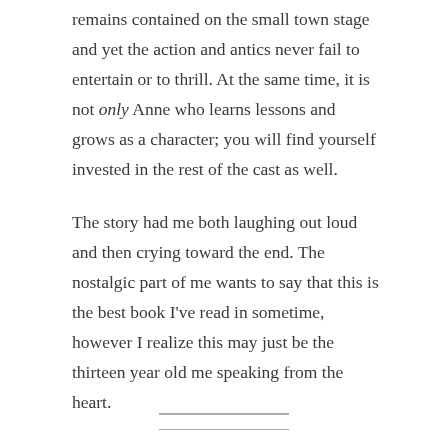remains contained on the small town stage and yet the action and antics never fail to entertain or to thrill. At the same time, it is not only Anne who learns lessons and grows as a character; you will find yourself invested in the rest of the cast as well.
The story had me both laughing out loud and then crying toward the end. The nostalgic part of me wants to say that this is the best book I've read in sometime, however I realize this may just be the thirteen year old me speaking from the heart.
That said, if you— like me— have never read this book before, it's available on Project Gutenberg. Please, go download a copy. Your inner child will thank you.